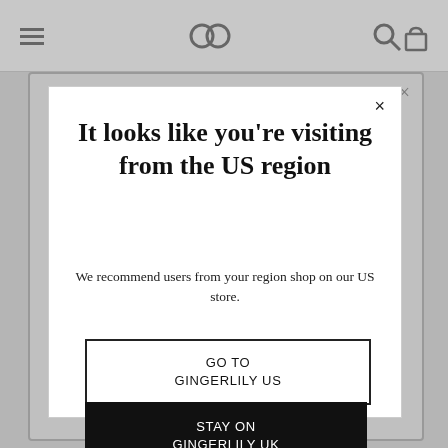[Figure (screenshot): Browser chrome top bar with hamburger menu icon, double-circle logo, search icon, and bag icon on a grey background]
It looks like you're visiting from the US region
We recommend users from your region shop on our US store.
GO TO GINGERLILY US
STAY ON GINGERLILY UK